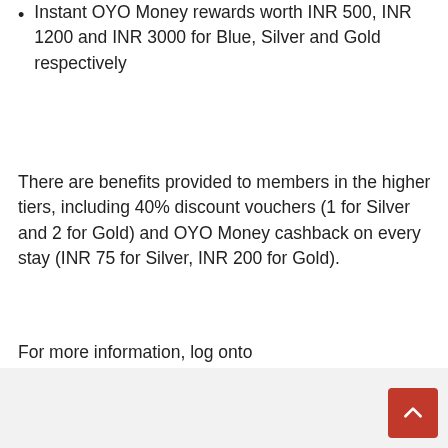Instant OYO Money rewards worth INR 500, INR 1200 and INR 3000 for Blue, Silver and Gold respectively
There are benefits provided to members in the higher tiers, including 40% discount vouchers (1 for Silver and 2 for Gold) and OYO Money cashback on every stay (INR 75 for Silver, INR 200 for Gold).
For more information, log onto www.oyorooms.com/wizard.